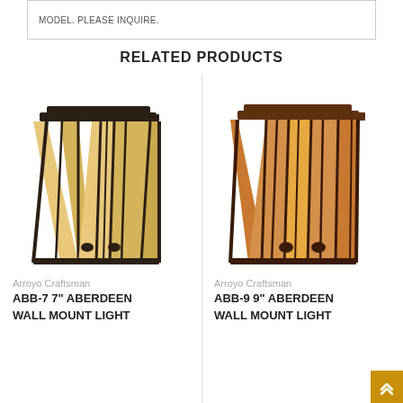MODEL. PLEASE INQUIRE.
RELATED PRODUCTS
[Figure (photo): Arroyo Craftsman wall sconce lamp ABB-7, dark bronze frame with amber/cream art glass panels in mission style, trapezoidal shade]
Arroyo Craftsman
ABB-7 7" ABERDEEN WALL MOUNT LIGHT
[Figure (photo): Arroyo Craftsman wall sconce lamp ABB-9, dark bronze frame with warm amber art glass panels in mission style, trapezoidal shade, close-up view]
Arroyo Craftsman
ABB-9 9" ABERDEEN WALL MOUNT LIGHT